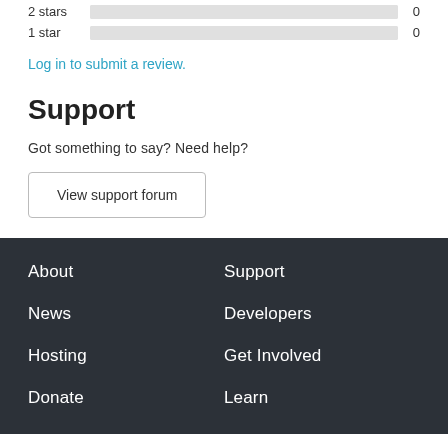2 stars 0
1 star 0
Log in to submit a review.
Support
Got something to say? Need help?
View support forum
About
Support
News
Developers
Hosting
Get Involved
Donate
Learn